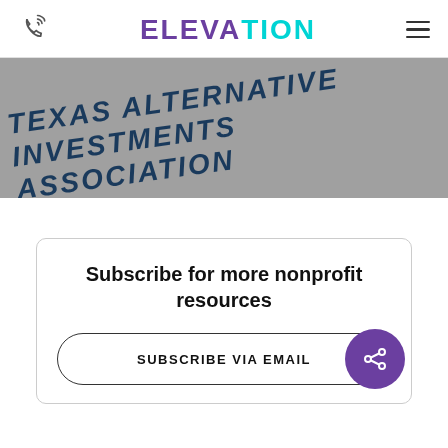ELEVATION
[Figure (logo): Elevation company logo with purple and cyan lettering, phone icon on left, hamburger menu on right]
[Figure (illustration): Gray banner with italic bold dark blue text reading TEXAS ALTERNATIVE INVESTMENTS ASSOCIATION rotated slightly counterclockwise]
Subscribe for more nonprofit resources
SUBSCRIBE VIA EMAIL